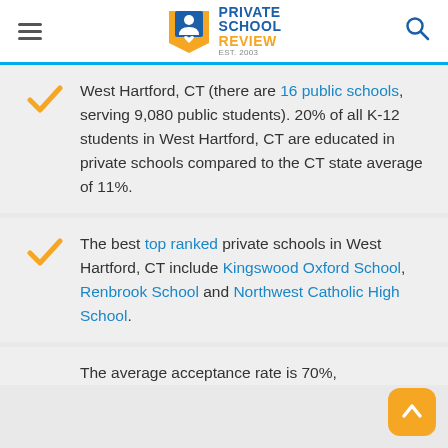Private School Review (EST. 2003)
West Hartford, CT (there are 16 public schools, serving 9,080 public students). 20% of all K-12 students in West Hartford, CT are educated in private schools compared to the CT state average of 11%.
The best top ranked private schools in West Hartford, CT include Kingswood Oxford School, Renbrook School and Northwest Catholic High School.
The average acceptance rate is 70%,